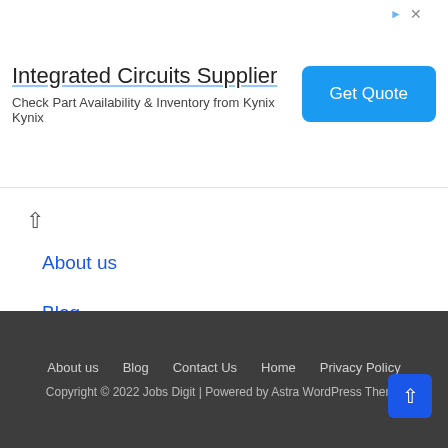[Figure (other): Advertisement banner for Integrated Circuits Supplier from Kynix with a blue 'Get Quote' button]
About us
Blog
Contact Us
Home
Privacy Policy
About us  Blog  Contact Us  Home  Privacy Policy
Copyright © 2022 Jobs Digit | Powered by Astra WordPress Theme